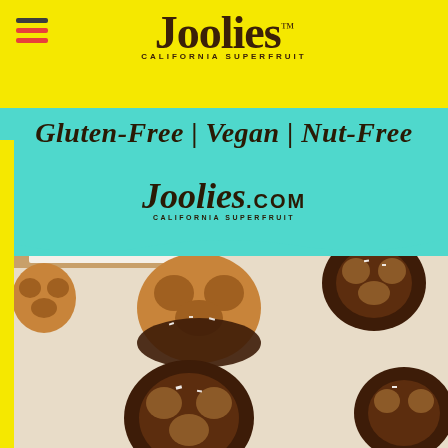[Figure (logo): Joolies California Superfruit logo with dark brown script text on yellow background with hamburger menu icon]
Gluten-Free | Vegan | Nut-Free
Joolies.COM CALIFORNIA SUPERFRUIT
[Figure (photo): Chocolate-dipped pretzels with date caramel filling and sea salt flakes arranged on a white surface and wooden board]